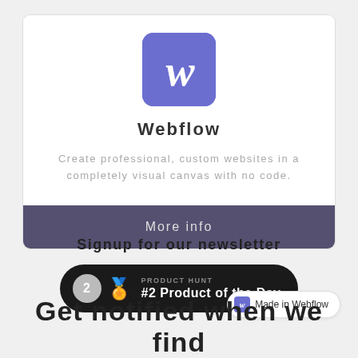[Figure (logo): Webflow logo: purple/indigo square with rounded corners containing a white stylized W]
Webflow
Create professional, custom websites in a completely visual canvas with no code.
More info
Signup for our newsletter
[Figure (infographic): Product Hunt badge: dark pill badge showing #2 Product of the Day with medal icon]
[Figure (logo): Made in Webflow badge: white rounded pill with Webflow icon and text 'Made in Webflow']
Get notified when we find